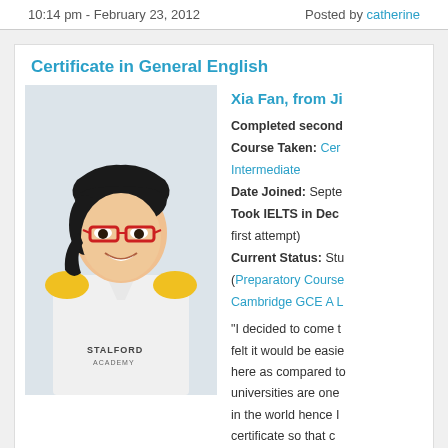10:14 pm - February 23, 2012    Posted by catherine
Certificate in General English
[Figure (photo): Photo of Xia Fan, a young Asian woman wearing red-framed glasses and a white polo shirt with yellow accents bearing the Stalford Academy logo, smiling at the camera.]
Xia Fan, from Ji
Completed second
Course Taken: Cer Intermediate
Date Joined: Septe
Took IELTS in Dec first attempt)
Current Status: Stu (Preparatory Course Cambridge GCE A L
“I decided to come t felt it would be easie here as compared to universities are one in the world hence I certificate so that c